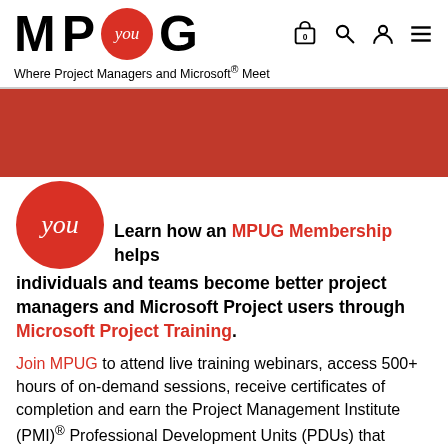MP you G — Where Project Managers and Microsoft® Meet
[Figure (illustration): Red banner section below navigation]
[Figure (logo): Large red circle with 'you' text in italic white font]
Learn how an MPUG Membership helps individuals and teams become better project managers and Microsoft Project users through Microsoft Project Training.
Join MPUG to attend live training webinars, access 500+ hours of on-demand sessions, receive certificates of completion and earn the Project Management Institute (PMI)® Professional Development Units (PDUs) that...